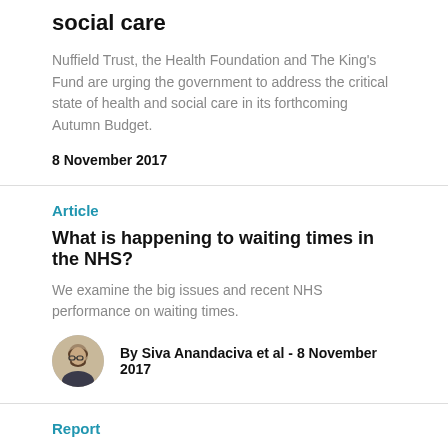social care
Nuffield Trust, the Health Foundation and The King's Fund are urging the government to address the critical state of health and social care in its forthcoming Autumn Budget.
8 November 2017
Article
What is happening to waiting times in the NHS?
We examine the big issues and recent NHS performance on waiting times.
By Siva Anandaciva et al - 8 November 2017
Report
How is the NHS performing? November 2017: